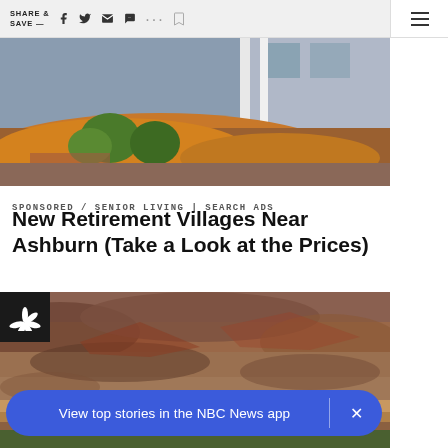SHARE & SAVE —
[Figure (photo): Aerial or street-level view of a residential property with orange/brown mulch landscaping, green shrubs, and a house facade in the background]
SPONSORED / SENIOR LIVING | SEARCH ADS
New Retirement Villages Near Ashburn (Take a Look at the Prices)
[Figure (photo): Aerial view of rocky desert terrain with reddish-brown rocky landscape with NBC News logo overlay in top-left corner]
View top stories in the NBC News app